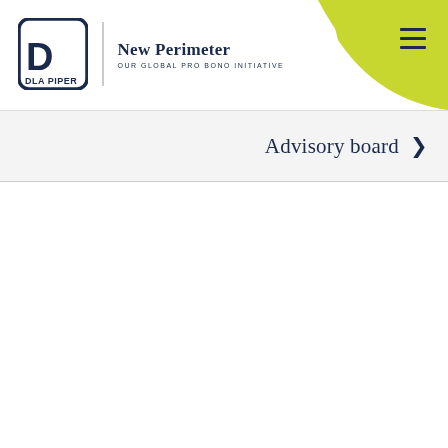DLA PIPER | New Perimeter OUR GLOBAL PRO BONO INITIATIVE
Advisory board >